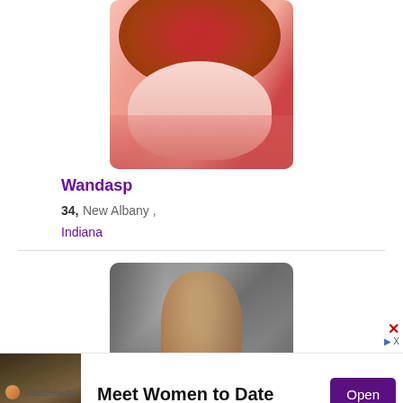[Figure (photo): Profile photo of a woman with red hair wearing a pink jacket, cropped view]
Wandasp
34,  New Albany ,
Indiana
[Figure (photo): Profile photo of a woman with blonde updo wearing a white top, posing with hand near face]
[Figure (photo): Advertisement: Meet Women to Date - DateBeauty app ad with woman on stairs]
Meet Women to Date
Open
DateBeauty